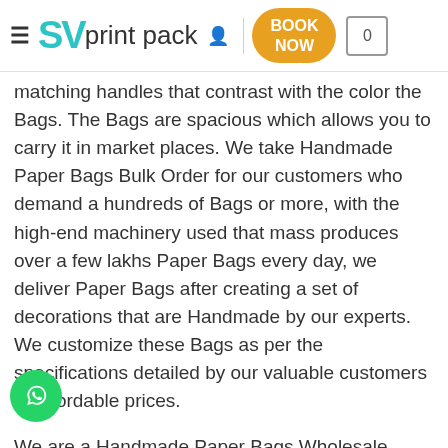SV print pack — navigation bar with BOOK NOW button and cart showing 0
Bags Print are available in different sizes, ador...
matching handles that contrast with the color the Bags. The Bags are spacious which allows you to carry it in market places. We take Handmade Paper Bags Bulk Order for our customers who demand a hundreds of Bags or more, with the high-end machinery used that mass produces over a few lakhs Paper Bags every day, we deliver Paper Bags after creating a set of decorations that are Handmade by our experts. We customize these Bags as per the specifications detailed by our valuable customers at affordable prices.

We are a Handmade Paper Bags Wholesale company that use high quality paper bags material that are appreciated by our consumers for their intrusive attributes such as ing looks, eco-friendly, innovative designs , re-usability, finesse finishing, and ability to hold a huge load.
[Figure (logo): WhatsApp green circle button in bottom left corner]